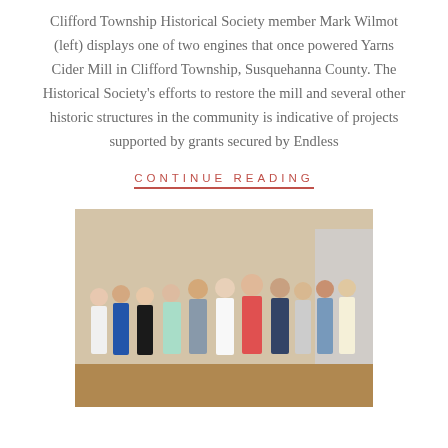Clifford Township Historical Society member Mark Wilmot (left) displays one of two engines that once powered Yarns Cider Mill in Clifford Township, Susquehanna County. The Historical Society's efforts to restore the mill and several other historic structures in the community is indicative of projects supported by grants secured by Endless
CONTINUE READING
[Figure (photo): Group photo of approximately 12 people standing in a line indoors, likely at a community event. Men and women of various ages, dressed casually and semi-formally.]